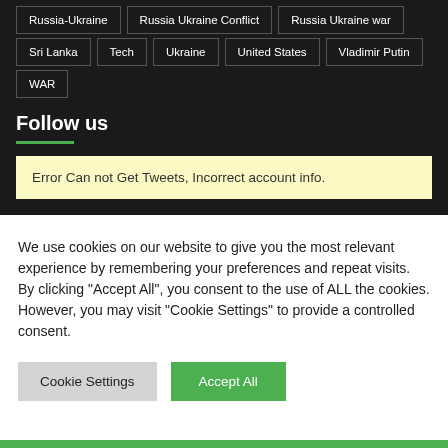Russia-Ukraine
Russia Ukraine Conflict
Russia Ukraine war
Sri Lanka
Tech
Ukraine
United States
Vladimir Putin
WAR
Follow us
Error Can not Get Tweets, Incorrect account info.
We use cookies on our website to give you the most relevant experience by remembering your preferences and repeat visits. By clicking “Accept All”, you consent to the use of ALL the cookies. However, you may visit "Cookie Settings" to provide a controlled consent.
Cookie Settings   Accept All